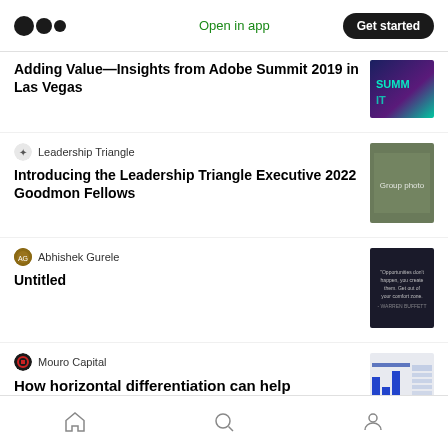Medium app header with logo, Open in app, Get started button
Adding Value—Insights from Adobe Summit 2019 in Las Vegas
Leadership Triangle
Introducing the Leadership Triangle Executive 2022 Goodmon Fellows
Abhishek Gurele
Untitled
Mouro Capital
How horizontal differentiation can help corporate card platforms secure long-term
Home, Search, Profile navigation icons